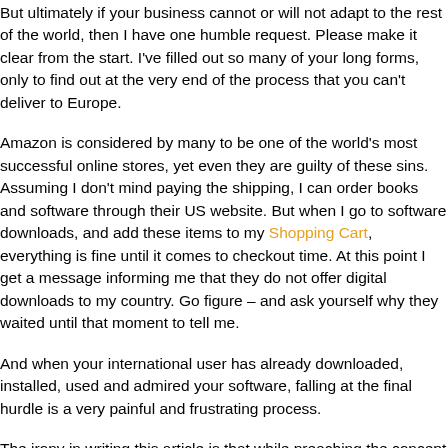But ultimately if your business cannot or will not adapt to the rest of the world, then I have one humble request. Please make it clear from the start. I've filled out so many of your long forms, only to find out at the very end of the process that you can't deliver to Europe.
Amazon is considered by many to be one of the world's most successful online stores, yet even they are guilty of these sins. Assuming I don't mind paying the shipping, I can order books and software through their US website. But when I go to software downloads, and add these items to my Shopping Cart, everything is fine until it comes to checkout time. At this point I get a message informing me that they do not offer digital downloads to my country. Go figure – and ask yourself why they waited until that moment to tell me.
And when your international user has already downloaded, installed, used and admired your software, falling at the final hurdle is a very painful and frustrating process.
The irony in writing this article is that while preaching the concept of internationalism, many of the ideas I suggest for achieving it are aimed primarily at US developers. But it's not only the US developers who need to expand their views.